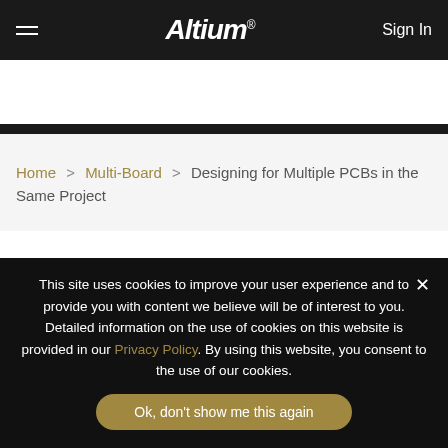Altium — Multi-Board | Sign In
Multi-Board
Home > Multi-Board > Designing for Multiple PCBs in the Same Project
Designing for Multiple PCBs in the
This site uses cookies to improve your user experience and to provide you with content we believe will be of interest to you. Detailed information on the use of cookies on this website is provided in our Privacy Policy. By using this website, you consent to the use of our cookies.
Ok, don't show me this again